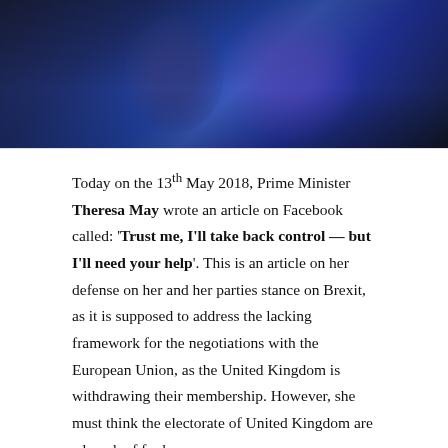[Figure (photo): Photo of two people, one in a blue outfit, standing together in a dark setting]
Today on the 13th May 2018, Prime Minister Theresa May wrote an article on Facebook called: 'Trust me, I'll take back control — but I'll need your help'. This is an article on her defense on her and her parties stance on Brexit, as it is supposed to address the lacking framework for the negotiations with the European Union, as the United Kingdom is withdrawing their membership. However, she must think the electorate of United Kingdom are a bunch of fools.
Since she wrote first this: "We will leave the Single Market because staying in the Single Market means continued free